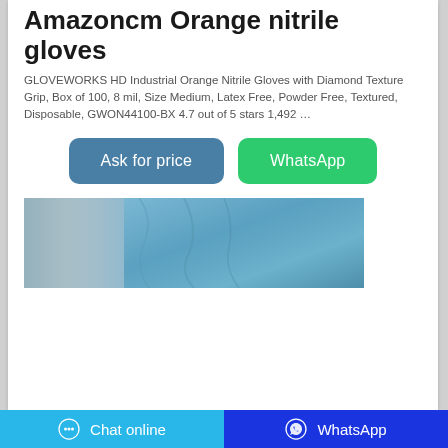Amazoncm Orange nitrile gloves
GLOVEWORKS HD Industrial Orange Nitrile Gloves with Diamond Texture Grip, Box of 100, 8 mil, Size Medium, Latex Free, Powder Free, Textured, Disposable, GWON44100-BX 4.7 out of 5 stars 1,492 …
[Figure (other): Blue fabric/textile product image]
Chat online   WhatsApp